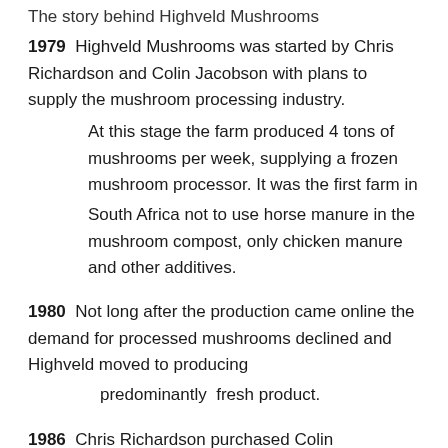The story behind Highveld Mushrooms
1979  Highveld Mushrooms was started by Chris Richardson and Colin Jacobson with plans to supply the mushroom processing industry.

        At this stage the farm produced 4 tons of mushrooms per week, supplying a frozen mushroom processor. It was the first farm in

        South Africa not to use horse manure in the mushroom compost, only chicken manure and other additives.
1980  Not long after the production came online the demand for processed mushrooms declined and Highveld moved to producing

        predominantly  fresh product.
1986  Chris Richardson purchased Colin Jacobson's